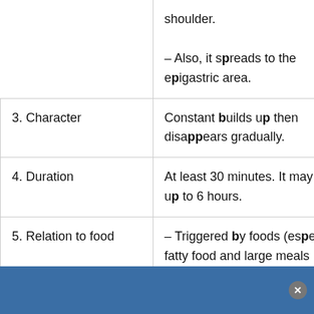|  | shoulder.
– Also, it spreads to the epigastric area. |
| 3. Character | Constant builds up then disappears gradually. |
| 4. Duration | At least 30 minutes. It may last up to 6 hours. |
| 5. Relation to food | – Triggered by foods (especially fatty food and large meals |